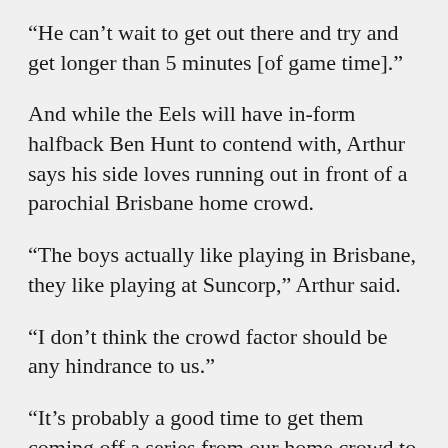“He can’t wait to get out there and try and get longer than 5 minutes [of game time].”
And while the Eels will have in-form halfback Ben Hunt to contend with, Arthur says his side loves running out in front of a parochial Brisbane home crowd.
“The boys actually like playing in Brisbane, they like playing at Suncorp,” Arthur said.
“I don’t think the crowd factor should be any hindrance to us.”
“It’s probably a good time to get them coming off a series from our home crowd to ball...